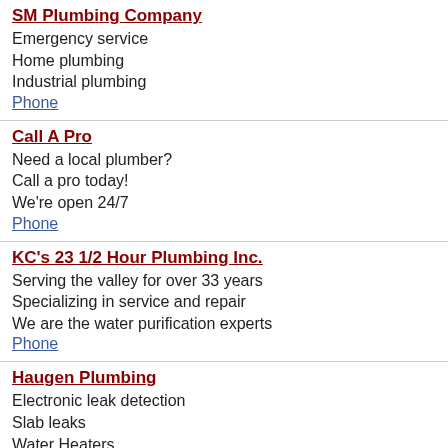SM Plumbing Company
Emergency service
Home plumbing
Industrial plumbing
Phone
Call A Pro
Need a local plumber?
Call a pro today!
We're open 24/7
Phone
KC's 23 1/2 Hour Plumbing Inc.
Serving the valley for over 33 years
Specializing in service and repair
We are the water purification experts
Phone
Haugen Plumbing
Electronic leak detection
Slab leaks
Water Heaters